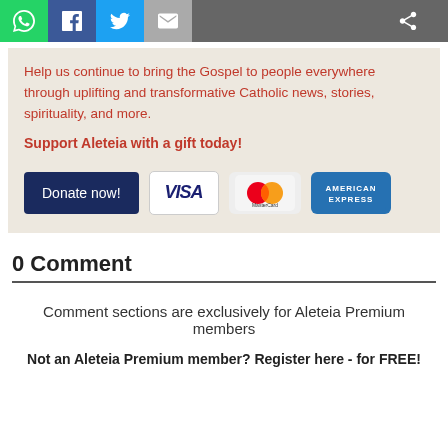[Figure (infographic): Social sharing bar with WhatsApp (green), Facebook (blue), Twitter (light blue), Email (gray) buttons on left, and a share icon on the right gray section]
Help us continue to bring the Gospel to people everywhere through uplifting and transformative Catholic news, stories, spirituality, and more.
Support Aleteia with a gift today!
[Figure (infographic): Payment options row: Donate now! button (dark navy), VISA card logo, MasterCard logo, American Express logo]
0 Comment
Comment sections are exclusively for Aleteia Premium members
Not an Aleteia Premium member? Register here - for FREE!